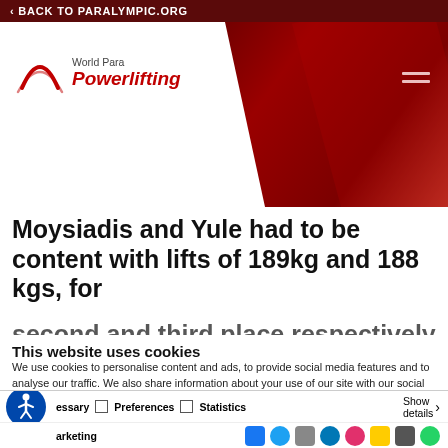BACK TO PARALYMPIC.ORG
[Figure (logo): World Para Powerlifting logo with red arc and italic red text on white background, set against a dark red background with geometric shapes]
Moysiadis and Yule had to be content with lifts of 189kg and 188 kgs, for
This website uses cookies
We use cookies to personalise content and ads, to provide social media features and to analyse our traffic. We also share information about your use of our site with our social media, advertising and analytics partners who may combine it with other information that you've provided to them or that they've collected from your use of their services.
Allow all cookies
Allow selection
Use necessary cookies on
essary   Preferences   Statistics
arketing
Show details